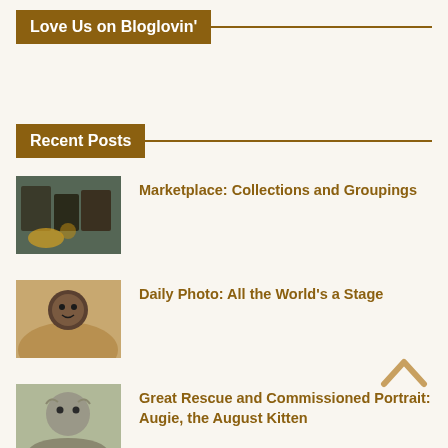Love Us on Bloglovin’
Recent Posts
Marketplace: Collections and Groupings
Daily Photo: All the World’s a Stage
Great Rescue and Commissioned Portrait: Augie, the August Kitten
Daily Photo: Black Cat Appreciation Day 2022